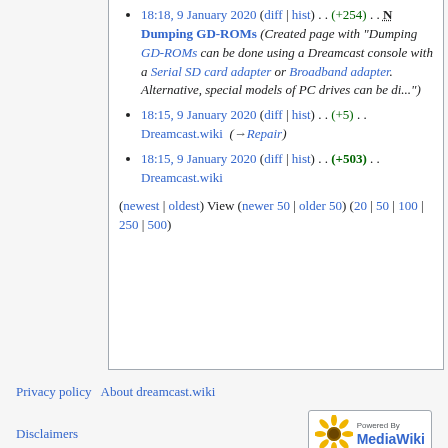18:18, 9 January 2020 (diff | hist) . . (+254) . . N Dumping GD-ROMs (Created page with "Dumping GD-ROMs can be done using a Dreamcast console with a Serial SD card adapter or Broadband adapter. Alternative, special models of PC drives can be di...")
18:15, 9 January 2020 (diff | hist) . . (+5) . . Dreamcast.wiki (→Repair)
18:15, 9 January 2020 (diff | hist) . . (+503) . . Dreamcast.wiki
(newest | oldest) View (newer 50 | older 50) (20 | 50 | 100 | 250 | 500)
Privacy policy   About dreamcast.wiki   Disclaimers